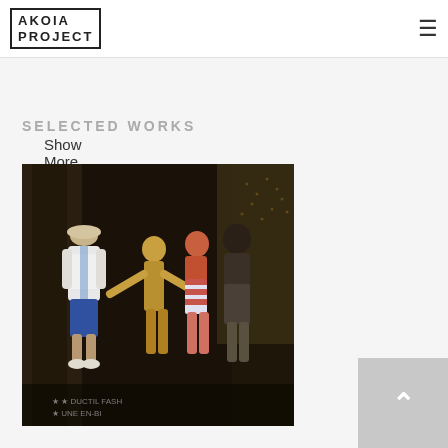AKOIA PROJECT
Show More
SELECTED WORKS
[Figure (photo): Painting showing figures in a dark architectural setting; one person in white shirt and cap viewed from behind, with colorful figures appearing to interact or fight in the center and right; text at the bottom reads 'DUCTIL FASH... UNE EN-BI...' with star motifs]
[Figure (other): Back to top button: grey square with upward-pointing chevron/caret arrow in white]